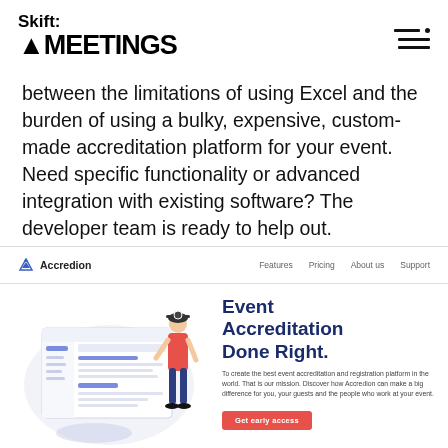Skift MEETINGS
between the limitations of using Excel and the burden of using a bulky, expensive, custom-made accreditation platform for your event. Need specific functionality or advanced integration with existing software? The developer team is ready to help out.
[Figure (screenshot): Accredion website navigation bar with logo and links: Features, Pricing, About us, Support]
[Figure (screenshot): Accredion website screenshot showing a dashboard UI with a woman figure, headline 'Event Accreditation Done Right.', descriptive text, and a red 'Get early access' button]